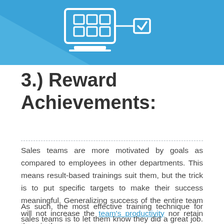[Figure (illustration): Blue banner with white icons of a laptop/monitor with checklist and a checkbox connected by a line, on a light blue background with a diagonal geometric accent]
3.) Reward Achievements:
Sales teams are more motivated by goals as compared to employees in other departments. This means result-based trainings suit them, but the trick is to put specific targets to make their success meaningful. Generalizing success of the entire team will not increase the team's productivity nor retain them in the company.
As such, the most effective training technique for sales teams is to let them know they did a great job. After that,